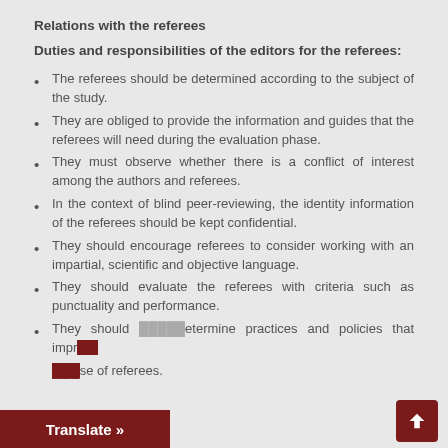Relations with the referees
Duties and responsibilities of the editors for the referees:
The referees should be determined according to the subject of the study.
They are obliged to provide the information and guides that the referees will need during the evaluation phase.
They must observe whether there is a conflict of interest among the authors and referees.
In the context of blind peer-reviewing, the identity information of the referees should be kept confidential.
They should encourage referees to consider working with an impartial, scientific and objective language.
They should evaluate the referees with criteria such as punctuality and performance.
They should determine practices and policies that improve …se of referees.